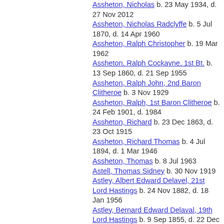Assheton, Nicholas  b. 23 May 1934, d. 27 Nov 2012
Assheton, Nicholas Radclyffe  b. 5 Jul 1870, d. 14 Apr 1960
Assheton, Ralph Christopher  b. 19 Mar 1962
Assheton, Ralph Cockayne, 1st Bt.  b. 13 Sep 1860, d. 21 Sep 1955
Assheton, Ralph John, 2nd Baron Clitheroe  b. 3 Nov 1929
Assheton, Ralph, 1st Baron Clitheroe  b. 24 Feb 1901, d. 1984
Assheton, Richard  b. 23 Dec 1863, d. 23 Oct 1915
Assheton, Richard Thomas  b. 4 Jul 1894, d. 1 Mar 1946
Assheton, Thomas  b. 8 Jul 1963
Astell, Thomas Sidney  b. 30 Nov 1919
Astley, Albert Edward Delavel, 21st Lord Hastings  b. 24 Nov 1882, d. 18 Jan 1956
Astley, Bernard Edward Delaval, 19th Lord Hastings  b. 9 Sep 1855, d. 22 Dec 1875